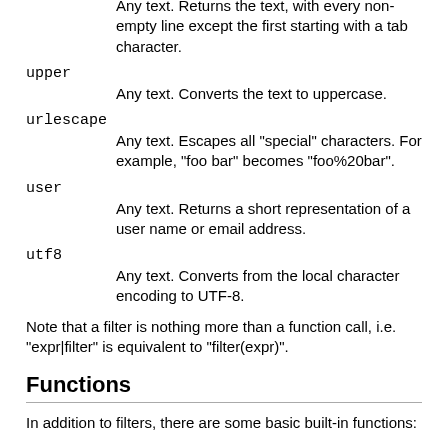Any text. Returns the text, with every non-empty line except the first starting with a tab character.
upper
Any text. Converts the text to uppercase.
urlescape
Any text. Escapes all "special" characters. For example, "foo bar" becomes "foo%20bar".
user
Any text. Returns a short representation of a user name or email address.
utf8
Any text. Converts from the local character encoding to UTF-8.
Note that a filter is nothing more than a function call, i.e. "expr|filter" is equivalent to "filter(expr)".
Functions
In addition to filters, there are some basic built-in functions: